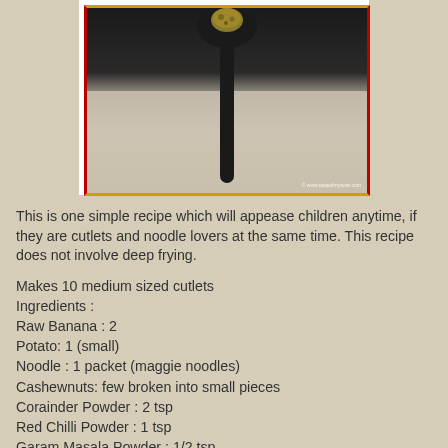[Figure (photo): A food photo showing a dark/black spoon or ladle holding a fried cutlet/ball, on a wooden surface background, with a yellow-bordered frame and copyright watermark 'www.tasteofmysore.com']
This is one simple recipe which will appease children anytime, if they are cutlets and noodle lovers at the same time. This recipe does not involve deep frying.
Makes 10 medium sized cutlets
Ingredients :
Raw Banana : 2
Potato: 1 (small)
Noodle : 1 packet (maggie noodles)
Cashewnuts: few broken into small pieces
Corainder Powder : 2 tsp
Red Chilli Powder : 1 tsp
Garam Masala Powder : 1/2 tsp